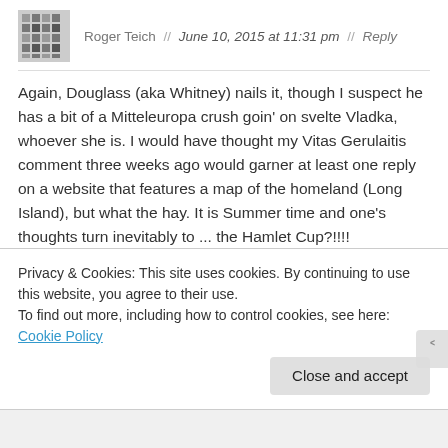Roger Teich // June 10, 2015 at 11:31 pm // Reply
Again, Douglass (aka Whitney) nails it, though I suspect he has a bit of a Mitteleuropa crush goin' on svelte Vladka, whoever she is. I would have thought my Vitas Gerulaitis comment three weeks ago would garner at least one reply on a website that features a map of the homeland (Long Island), but what the hay. It is Summer time and one's thoughts turn inevitably to ... the Hamlet Cup?!!!!
★ Like
Privacy & Cookies: This site uses cookies. By continuing to use this website, you agree to their use.
To find out more, including how to control cookies, see here: Cookie Policy
Close and accept